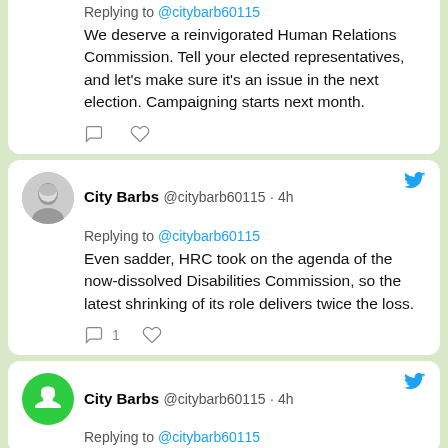Replying to @citybarb60115
We deserve a reinvigorated Human Relations Commission. Tell your elected representatives, and let's make sure it's an issue in the next election. Campaigning starts next month.
City Barbs @citybarb60115 · 4h
Replying to @citybarb60115
Even sadder, HRC took on the agenda of the now-dissolved Disabilities Commission, so the latest shrinking of its role delivers twice the loss.
City Barbs @citybarb60115 · 4h
Replying to @citybarb60115
Recent Posts